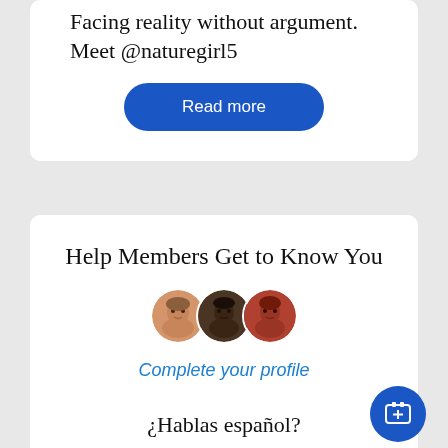Facing reality without argument. Meet @naturegirl5
Read more
Help Members Get to Know You
[Figure (illustration): Three overlapping circular avatar photos of women]
Complete your profile
¿Hablas español?
[Figure (photo): Woman smiling while looking at a smartphone]